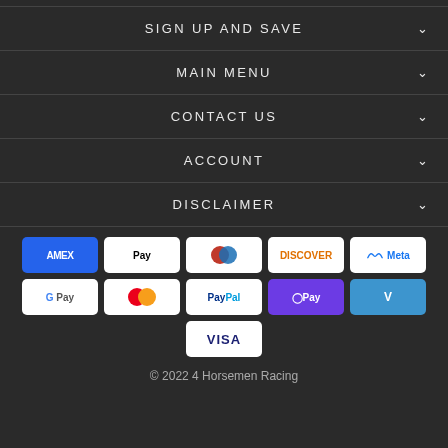SIGN UP AND SAVE
MAIN MENU
CONTACT US
ACCOUNT
DISCLAIMER
[Figure (other): Payment method icons: American Express, Apple Pay, Diners Club, Discover, Meta Pay, Google Pay, Mastercard, PayPal, OPay, Venmo, Visa]
© 2022 4 Horsemen Racing